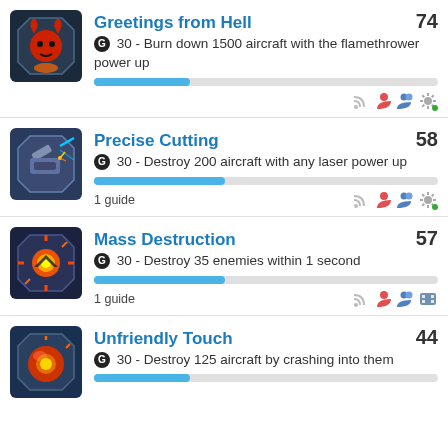Greetings from Hell - 74 - G 30 - Burn down 1500 aircraft with the flamethrower power up
Precise Cutting - 58 - G 30 - Destroy 200 aircraft with any laser power up - 1 guide
Mass Destruction - 57 - G 30 - Destroy 35 enemies within 1 second - 1 guide
Unfriendly Touch - 44 - G 30 - Destroy 125 aircraft by crashing into them